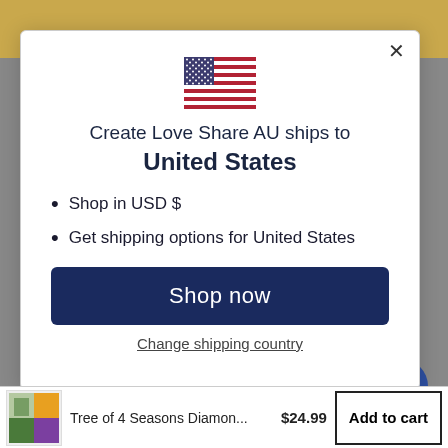[Figure (screenshot): US flag emoji/icon]
Create Love Share AU ships to United States
Shop in USD $
Get shipping options for United States
Shop now
Change shipping country
Tree of 4 Seasons Diamon...  $24.99  Add to cart